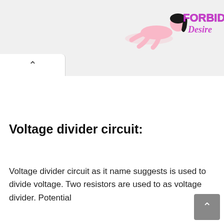[Figure (logo): Forbidden Desire logo with stylized female figure in pink and purple/violet text reading FORBIDDEN Desire]
Voltage divider circuit:
Voltage divider circuit as it name suggests is used to divide voltage. Two resistors are used to as voltage divider. Potential